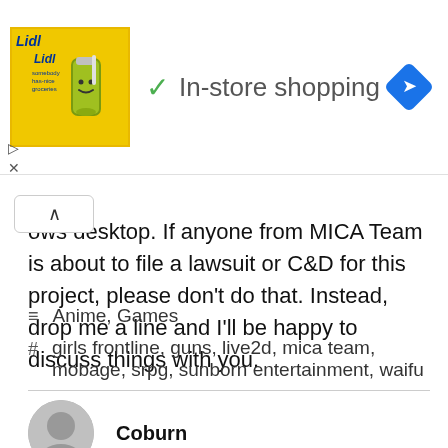[Figure (screenshot): Advertisement banner: Lidl logo with shopping bag graphic, green checkmark, text 'In-store shopping', and blue navigation diamond icon on the right. Below the ad are play and close controls.]
ows desktop. If anyone from MICA Team is about to file a lawsuit or C&D for this project, please don't do that. Instead, drop me a line and I'll be happy to discuss things with you.
Anime, Games
girls frontline, guns, live2d, mica team, mobage, srpg, sunborn entertainment, waifu
Coburn